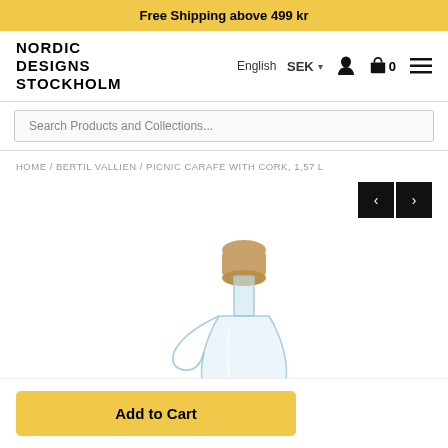Free Shipping above 499 kr
[Figure (logo): Nordic Designs Stockholm logo - brand name in bold uppercase block letters]
English  SEK
Search Products and Collections...
HOME / BERTIL VALLIEN / PICNIC CARAFE WITH CORK, 1,57 L
[Figure (photo): Glass picnic carafe with cork stopper, approximately 1.57 liters, shown on white background. The carafe has a narrow neck, a side handle, and a cork plug at the top.]
Add to Cart